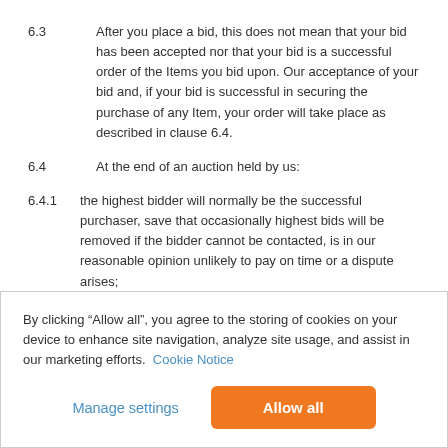6.3	After you place a bid, this does not mean that your bid has been accepted nor that your bid is a successful order of the Items you bid upon. Our acceptance of your bid and, if your bid is successful in securing the purchase of any Item, your order will take place as described in clause 6.4.
6.4	At the end of an auction held by us:
6.4.1	the highest bidder will normally be the successful purchaser, save that occasionally highest bids will be removed if the bidder cannot be contacted, is in our reasonable opinion unlikely to pay on time or a dispute arises;
By clicking “Allow all”, you agree to the storing of cookies on your device to enhance site navigation, analyze site usage, and assist in our marketing efforts. Cookie Notice
Manage settings
Allow all